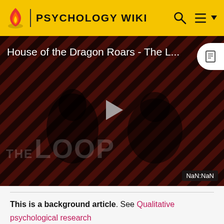PSYCHOLOGY WIKI
[Figure (screenshot): Video thumbnail for 'House of the Dragon Roars - The L...' showing two figures with a striped red/dark background, a play button in the center, 'THE LOOP' text at bottom left, and 'NaN:NaN' timer badge at bottom right.]
This is a background article. See Qualitative psychological research
The term "qualitative research" has different meanings in different fields, with the social science usage the most